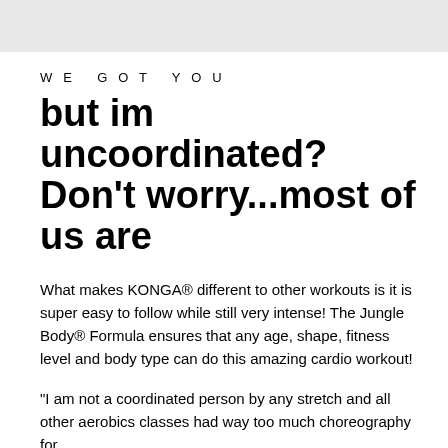[Figure (photo): Light gray rectangular banner at the top of the page]
WE GOT YOU
but im uncoordinated? Don't worry...most of us are
What makes KONGA® different to other workouts is it is super easy to follow while still very intense! The Jungle Body® Formula ensures that any age, shape, fitness level and body type can do this amazing cardio workout!
"I am not a coordinated person by any stretch and all other aerobics classes had way too much choreography for